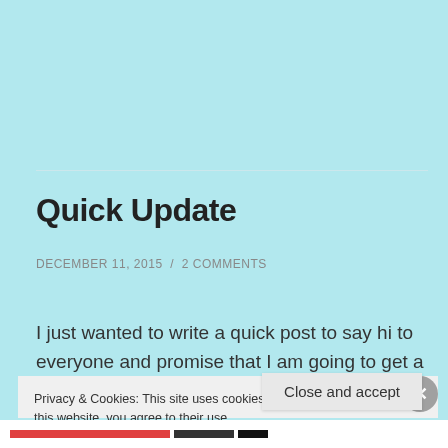Quick Update
DECEMBER 11, 2015 / 2 COMMENTS
I just wanted to write a quick post to say hi to everyone and promise that I am going to get a couple of reviews
Privacy & Cookies: This site uses cookies. By continuing to use this website, you agree to their use.
To find out more, including how to control cookies, see here: Cookie Policy
Close and accept